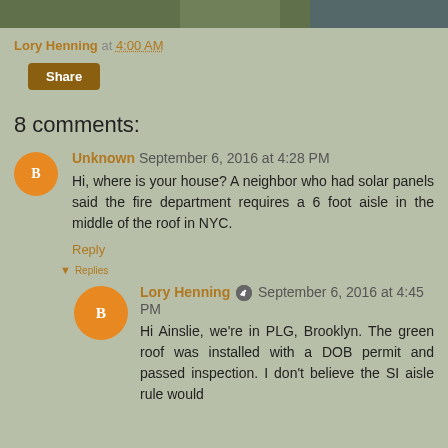[Figure (photo): Top portion of a photo showing a green roof or garden]
Lory Henning at 4:00 AM
Share
8 comments:
Unknown September 6, 2016 at 4:28 PM
Hi, where is your house? A neighbor who had solar panels said the fire department requires a 6 foot aisle in the middle of the roof in NYC.
Reply
Replies
Lory Henning September 6, 2016 at 4:45 PM
Hi Ainslie, we're in PLG, Brooklyn. The green roof was installed with a DOB permit and passed inspection. I don't believe the SI aisle rule would